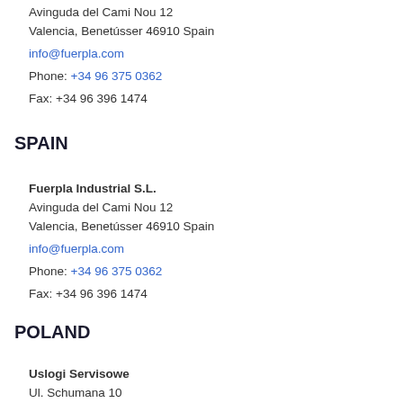Avinguda del Cami Nou 12
Valencia, Benetússer 46910 Spain
info@fuerpla.com
Phone: +34 96 375 0362
Fax: +34 96 396 1474
SPAIN
Fuerpla Industrial S.L.
Avinguda del Cami Nou 12
Valencia, Benetússer 46910 Spain
info@fuerpla.com
Phone: +34 96 375 0362
Fax: +34 96 396 1474
POLAND
Uslogi Servisowe
Ul. Schumana 10